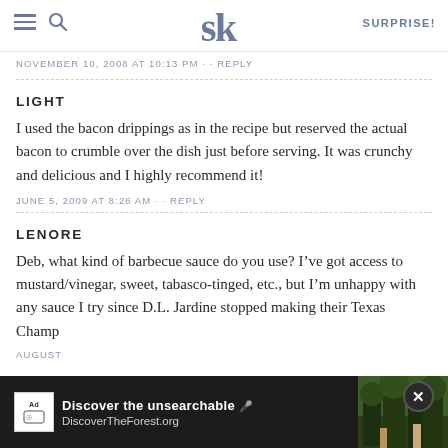SK — SURPRISE!
NOVEMBER 10, 2008 AT 10:13 PM · · REPLY
LIGHT
I used the bacon drippings as in the recipe but reserved the actual bacon to crumble over the dish just before serving. It was crunchy and delicious and I highly recommend it!
JUNE 5, 2009 AT 8:26 AM · · REPLY
LENORE
Deb, what kind of barbecue sauce do you use? I've got access to mustard/vinegar, sweet, tabasco-tinged, etc., but I'm unhappy with any sauce I try since D.L. Jardine stopped making their Texas Champagne sauce.
AUGUST
[Figure (screenshot): Ad banner at bottom: 'Discover the unsearchable / DiscoverTheForest.org' with forest photo and close button]